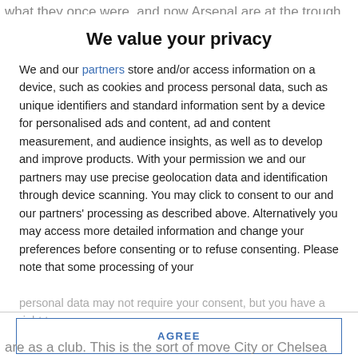what they once were, and now Arsenal are at the trough
We value your privacy
We and our partners store and/or access information on a device, such as cookies and process personal data, such as unique identifiers and standard information sent by a device for personalised ads and content, ad and content measurement, and audience insights, as well as to develop and improve products. With your permission we and our partners may use precise geolocation data and identification through device scanning. You may click to consent to our and our partners' processing as described above. Alternatively you may access more detailed information and change your preferences before consenting or to refuse consenting. Please note that some processing of your
personal data may not require your consent, but you have a right to
AGREE
MORE OPTIONS
are as a club. This is the sort of move City or Chelsea